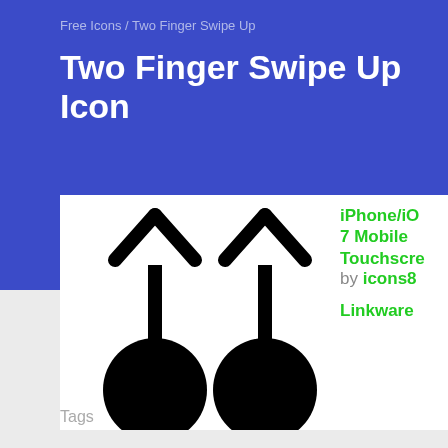Free Icons / Two Finger Swipe Up
Two Finger Swipe Up Icon
[Figure (illustration): Two finger swipe up icon showing two upward arrows with circular bases representing touch gestures on a white background]
iPhone/iOS 7 Mobile Touchscreen by icons8
Linkware
Tags